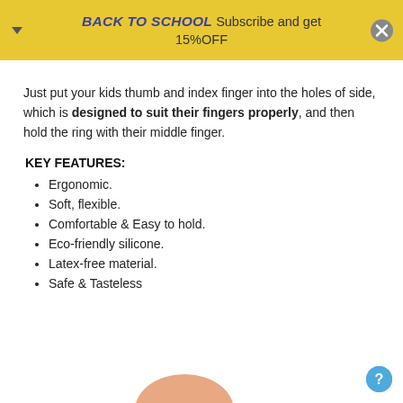BACK TO SCHOOL Subscribe and get 15%OFF
Just put your kids thumb and index finger into the holes of side, which is designed to suit their fingers properly, and then hold the ring with their middle finger.
KEY FEATURES:
Ergonomic.
Soft, flexible.
Comfortable & Easy to hold.
Eco-friendly silicone.
Latex-free material.
Safe & Tasteless
[Figure (photo): Partial view of a hand/finger at the bottom of the page]